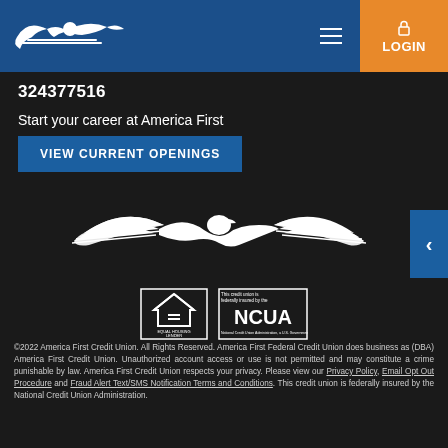[Figure (logo): America First Credit Union logo — white eagle/bird with wings on blue header background]
324377516
Start your career at America First
VIEW CURRENT OPENINGS
[Figure (logo): America First Credit Union large white eagle/bird logo on dark background]
[Figure (logo): Equal Housing Lender and NCUA compliance logos]
©2022 America First Credit Union. All Rights Reserved. America First Federal Credit Union does business as (DBA) America First Credit Union. Unauthorized account access or use is not permitted and may constitute a crime punishable by law. America First Credit Union respects your privacy. Please view our Privacy Policy, Email Opt Out Procedure and Fraud Alert Text/SMS Notification Terms and Conditions. This credit union is federally insured by the National Credit Union Administration.